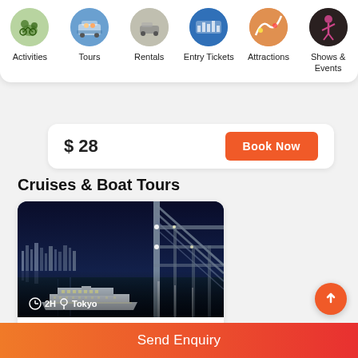Activities | Tours | Rentals | Entry Tickets | Attractions | Shows & Events
$ 28   Book Now
Cruises & Boat Tours
[Figure (photo): Night photo of Tokyo Bay: city skyline with lit bridge structure on right and a white cruise ship in foreground on dark water. Overlay shows clock icon, '2H', location pin icon, 'Tokyo'.]
Tokyo Bay Dinner Cruise
Send Enquiry